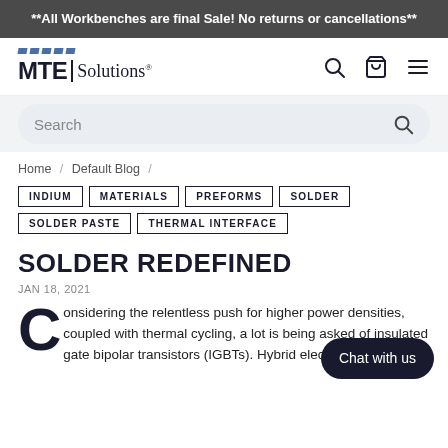**All Workbenches are final Sale! No returns or cancellations**
[Figure (logo): MTE Solutions logo with blue stripe pattern and navigation icons (search, cart, menu)]
Search
Home / Default Blog /
INDIUM
MATERIALS
PREFORMS
SOLDER
SOLDER PASTE
THERMAL INTERFACE
SOLDER REDEFINED
JAN 18, 2021
Considering the relentless push for higher power densities, coupled with thermal cycling, a lot is being asked of insulated gate bipolar transistors (IGBTs). Hybrid electric